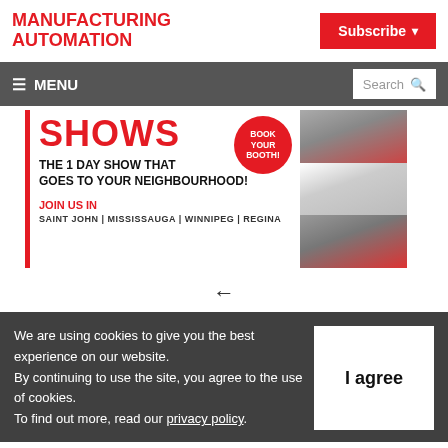MANUFACTURING AUTOMATION | Subscribe
[Figure (screenshot): Navigation bar with hamburger menu icon, MENU text, and search box]
[Figure (infographic): Advertisement banner: SHOWS - THE 1 DAY SHOW THAT GOES TO YOUR NEIGHBOURHOOD! JOIN US IN SAINT JOHN | MISSISSAUGA | WINNIPEG | REGINA. Book Your Booth circular badge. Right side has red-tinted city photos.]
We are using cookies to give you the best experience on our website. By continuing to use the site, you agree to the use of cookies. To find out more, read our privacy policy.
I agree